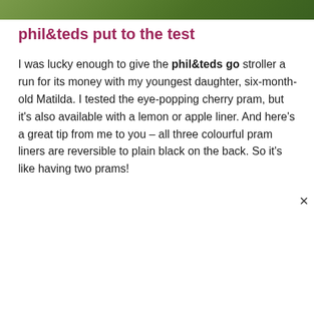[Figure (photo): Top strip showing a partial green outdoor/nature image]
phil&teds put to the test
I was lucky enough to give the phil&teds go stroller a run for its money with my youngest daughter, six-month-old Matilda. I tested the eye-popping cherry pram, but it's also available with a lemon or apple liner. And here's a great tip from me to you – all three colourful pram liners are reversible to plain black on the back. So it's like having two prams!